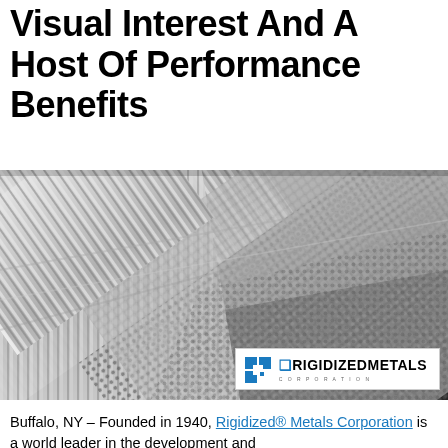Visual Interest And A Host Of Performance Benefits
[Figure (photo): Close-up photo of various rigidized/textured metal sheet surfaces with corrugated, embossed, and perforated patterns in silver/gray tones, with Rigidized Metals Corporation logo overlay in bottom right.]
Buffalo, NY – Founded in 1940, Rigidized® Metals Corporation is a world leader in the development and